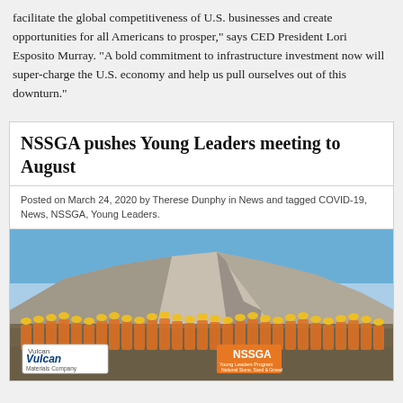facilitate the global competitiveness of U.S. businesses and create opportunities for all Americans to prosper," says CED President Lori Esposito Murray. "A bold commitment to infrastructure investment now will super-charge the U.S. economy and help us pull ourselves out of this downturn."
NSSGA pushes Young Leaders meeting to August
Posted on March 24, 2020 by Therese Dunphy in News and tagged COVID-19, News, NSSGA, Young Leaders.
[Figure (photo): Group photo of many workers in yellow hard hats and orange safety vests standing in front of a large quarry rock pile under a blue sky. In the foreground, two banners are visible: a white Vulcan Materials Company banner on the left and an orange NSSGA banner on the right.]